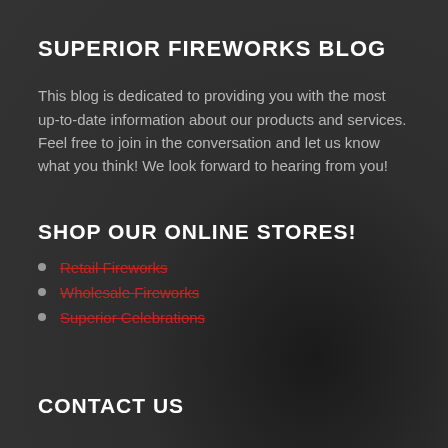SUPERIOR FIREWORKS BLOG
This blog is dedicated to providing you with the most up-to-date information about our products and services. Feel free to join in the conversation and let us know what you think! We look forward to hearing from you!
SHOP OUR ONLINE STORES!
Retail Fireworks
Wholesale Fireworks
Superior Celebrations
CONTACT US